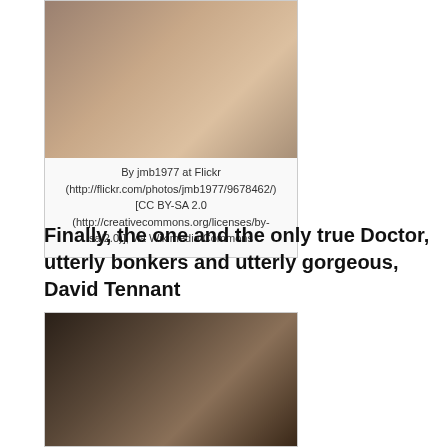[Figure (photo): Portrait photo of a man, partially cropped at top of page]
By jmb1977 at Flickr (http://flickr.com/photos/jmb1977/9678462/) [CC BY-SA 2.0 (http://creativecommons.org/licenses/by-sa/2.0)], via Wikimedia Commons
Finally, the one and the only true Doctor, utterly bonkers and utterly gorgeous, David Tennant
[Figure (photo): Portrait photo of David Tennant, showing face and dark hair, partially cropped at bottom of page]